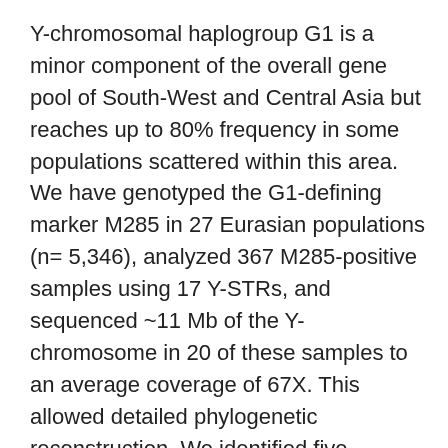Y-chromosomal haplogroup G1 is a minor component of the overall gene pool of South-West and Central Asia but reaches up to 80% frequency in some populations scattered within this area. We have genotyped the G1-defining marker M285 in 27 Eurasian populations (n= 5,346), analyzed 367 M285-positive samples using 17 Y-STRs, and sequenced ~11 Mb of the Y-chromosome in 20 of these samples to an average coverage of 67X. This allowed detailed phylogenetic reconstruction. We identified five branches, all with high geographical specificity: G1-L1323 in Kazakhs, the closely related G1-GG1 in Mongols, G1-GG265 in Armenians and its distant brother clade G1-GG162 in Bashkirs, and G1-GG362 in West Indians. The haplotype diversity, which decreased from West Iran to Central Asia, allows us to hypothesize that this rare haplogroup could have been carried by the